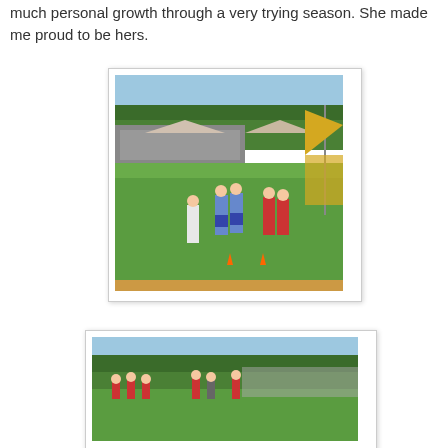much personal growth through a very trying season. She made me proud to be hers.
[Figure (photo): Athletes standing on a grass field at a cross country or track meet. Girls in blue and white uniforms in the center, girls in red uniforms to the right, a banner/flag visible on the right side, trees and bleachers in the background.]
[Figure (photo): Partial view of another outdoor athletic event scene, showing crowd and field area.]